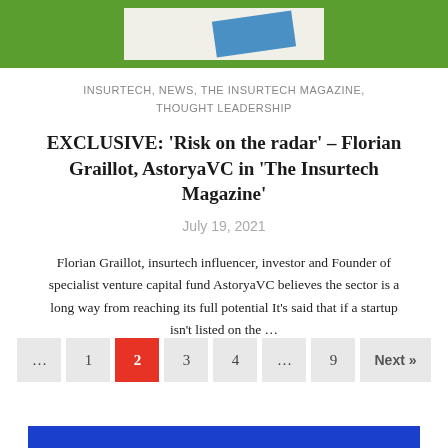[Figure (illustration): Green banner background with a light-colored card and blue angled card element]
INSURTECH, NEWS, THE INSURTECH MAGAZINE, THOUGHT LEADERSHIP
EXCLUSIVE: ‘Risk on the radar’ – Florian Graillot, AstoryaVC in ‘The Insurtech Magazine’
July 19, 2021
Florian Graillot, insurtech influencer, investor and Founder of specialist venture capital fund AstoryaVC believes the sector is a long way from reaching its full potential It’s said that if a startup isn’t listed on the …
[Figure (other): Pagination controls: ... 1 2(active/red) 3 4 ... 9 Next »]
[Figure (other): Blue bar at the bottom of the page]